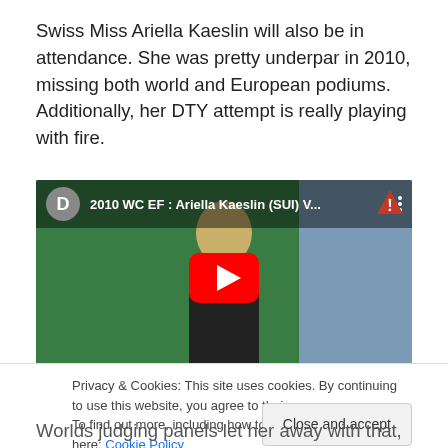Swiss Miss Ariella Kaeslin will also be in attendance. She was pretty underpar in 2010, missing both world and European podiums. Additionally, her DTY attempt is really playing with fire.
[Figure (screenshot): YouTube video thumbnail showing '2010 WC EF : Ariella Kaeslin (SUI) V...' with a play button overlay, green and blue background, figure of a gymnast visible from behind]
Privacy & Cookies: This site uses cookies. By continuing to use this website, you agree to their use.
To find out more, including how to control cookies, see here: Cookie Policy
Worlds judging panels let her away with that, Euros judges